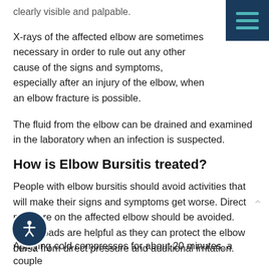clearly visible and palpable.
X-rays of the affected elbow are sometimes necessary in order to rule out any other cause of the signs and symptoms, especially after an injury of the elbow, when an elbow fracture is possible.
The fluid from the elbow can be drained and examined in the laboratory when an infection is suspected.
How is Elbow Bursitis treated?
People with elbow bursitis should avoid activities that will make their signs and symptoms get worse. Direct pressure on the affected elbow should be avoided. Elbow pads are helpful as they can protect the elbow bursa from direct pressure and additional irritation.
Applying cold compresses for about 20 minutes, a couple of times a day can help reduce the swelling of the